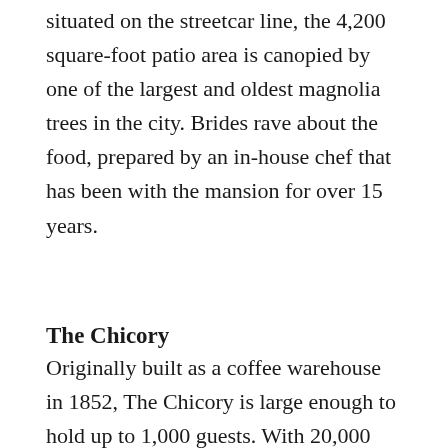situated on the streetcar line, the 4,200 square-foot patio area is canopied by one of the largest and oldest magnolia trees in the city. Brides rave about the food, prepared by an in-house chef that has been with the mansion for over 15 years.
The Chicory
Originally built as a coffee warehouse in 1852, The Chicory is large enough to hold up to 1,000 guests. With 20,000 square feet of exposed beams, brick walls, and gas lanterns, very few decorations are needed to make this